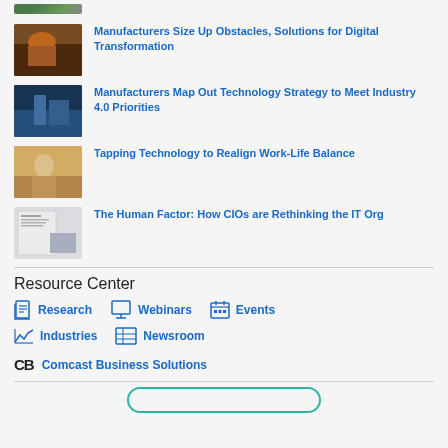[Figure (photo): Partial view of a person in work environment, partially cropped at top]
Manufacturers Size Up Obstacles, Solutions for Digital Transformation
[Figure (photo): Person in blue hard hat working in industrial environment]
Manufacturers Map Out Technology Strategy to Meet Industry 4.0 Priorities
[Figure (photo): Person in blue shirt working with technology in warm light]
Tapping Technology to Realign Work-Life Balance
[Figure (photo): Document/report cover page thumbnail with text and image]
The Human Factor: How CIOs are Rethinking the IT Org
Resource Center
Research
Webinars
Events
Industries
Newsroom
Comcast Business Solutions